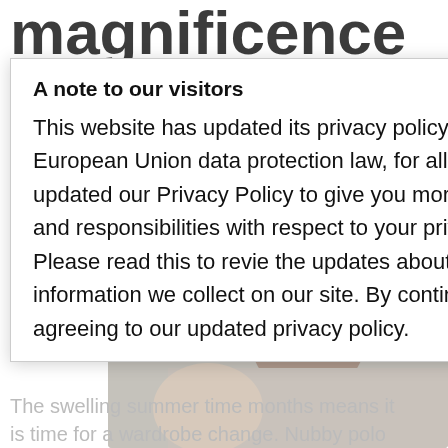magnificence – from
hair care and make-up to sunscreen
June 19, 2022 by benzineumaeddineoriginal
[Figure (photo): Background photo of a person, partially visible]
The swelling summer time months means it is time for a wardrobe change. Nubby polo
A note to our visitors
This website has updated its privacy policy in compliance with changes to European Union data protection law, for all members globally. We've also updated our Privacy Policy to give you more information about your rights and responsibilities with respect to your privacy and personal information. Please read this to review the updates about which cookies we use and what information we collect on our site. By continuing to use this site, you are agreeing to our updated privacy policy.